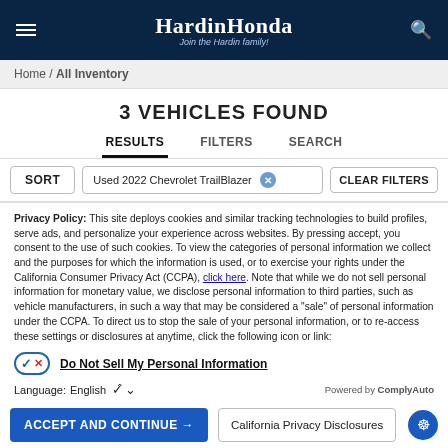HardinHonda — Join the Hardin family!
Home / All Inventory
3 VEHICLES FOUND
RESULTS   FILTERS   SEARCH
SORT   Used 2022 Chevrolet TrailBlazer ✕   CLEAR FILTERS
Privacy Policy: This site deploys cookies and similar tracking technologies to build profiles, serve ads, and personalize your experience across websites. By pressing accept, you consent to the use of such cookies. To view the categories of personal information we collect and the purposes for which the information is used, or to exercise your rights under the California Consumer Privacy Act (CCPA), click here. Note that while we do not sell personal information for monetary value, we disclose personal information to third parties, such as vehicle manufacturers, in such a way that may be considered a "sale" of personal information under the CCPA. To direct us to stop the sale of your personal information, or to re-access these settings or disclosures at anytime, click the following icon or link:
Do Not Sell My Personal Information
Language: English ∨   Powered by ComplyAuto
ACCEPT AND CONTINUE →   California Privacy Disclosures